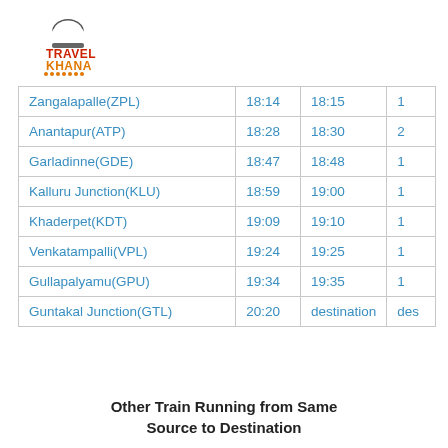[Figure (logo): Travel Khana logo with chef hat icon, red and orange text]
| Zangalapalle(ZPL) | 18:14 | 18:15 | 1 |
| Anantapur(ATP) | 18:28 | 18:30 | 2 |
| Garladinne(GDE) | 18:47 | 18:48 | 1 |
| Kalluru Junction(KLU) | 18:59 | 19:00 | 1 |
| Khaderpet(KDT) | 19:09 | 19:10 | 1 |
| Venkatampalli(VPL) | 19:24 | 19:25 | 1 |
| Gullapalyamu(GPU) | 19:34 | 19:35 | 1 |
| Guntakal Junction(GTL) | 20:20 | destination | des |
Other Train Running from Same Source to Destination